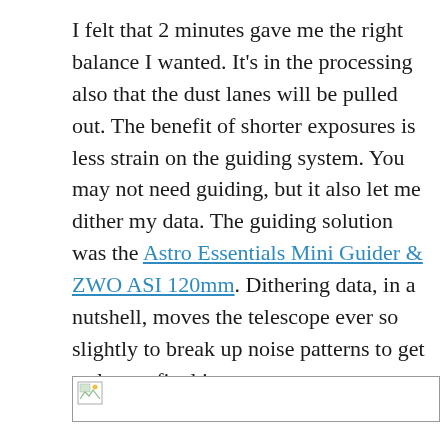I felt that 2 minutes gave me the right balance I wanted. It's in the processing also that the dust lanes will be pulled out. The benefit of shorter exposures is less strain on the guiding system. You may not need guiding, but it also let me dither my data. The guiding solution was the Astro Essentials Mini Guider & ZWO ASI 120mm. Dithering data, in a nutshell, moves the telescope ever so slightly to break up noise patterns to get a cleaner final image.
[Figure (photo): Broken image placeholder icon at bottom of page]